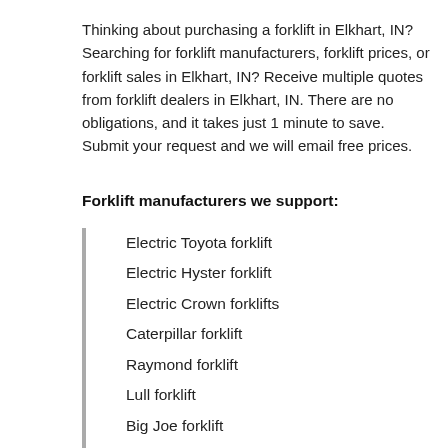Thinking about purchasing a forklift in Elkhart, IN? Searching for forklift manufacturers, forklift prices, or forklift sales in Elkhart, IN? Receive multiple quotes from forklift dealers in Elkhart, IN. There are no obligations, and it takes just 1 minute to save. Submit your request and we will email free prices.
Forklift manufacturers we support:
Electric Toyota forklift
Electric Hyster forklift
Electric Crown forklifts
Caterpillar forklift
Raymond forklift
Lull forklift
Big Joe forklift
TCM forklift
Komatsu forklift
Mitsubishi forklift